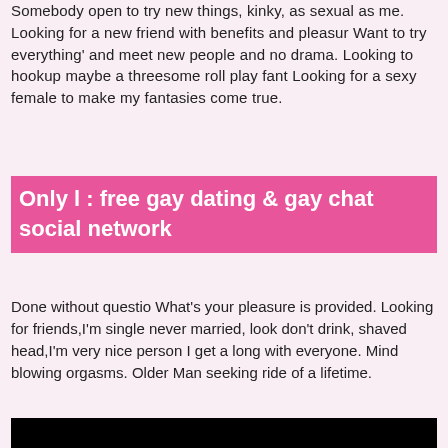Somebody open to try new things, kinky, as sexual as me. Looking for a new friend with benefits and pleasur Want to try everything' and meet new people and no drama. Looking to hookup maybe a threesome roll play fant Looking for a sexy female to make my fantasies come true.
Only l : free gay dating & gay chat social network
Done without questio What's your pleasure is provided. Looking for friends,I'm single never married, look don't drink, shaved head,I'm very nice person I get a long with everyone. Mind blowing orgasms. Older Man seeking ride of a lifetime.
[Figure (photo): Black rectangle at bottom of page]